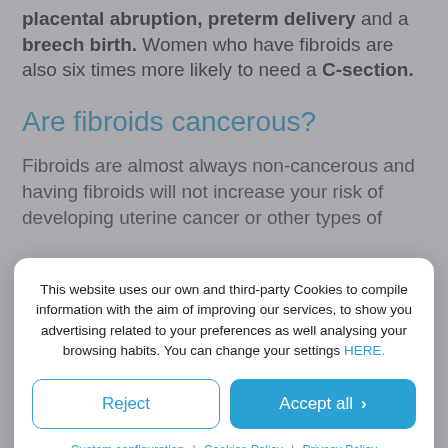placental abruption, preterm delivery and a breech birth. Women who have fibroids are also six times more likely to need a C-section.
Are fibroids cancerous?
Fibroids are almost always non-cancerous and having fibroids will not increase your risk of developing uterine cancer or other types of
This website uses our own and third-party Cookies to compile information with the aim of improving our services, to show you advertising related to your preferences as well analysing your browsing habits. You can change your settings HERE.
Reject | Accept all
Custom configuration | Cookies Policy | Privacy Policy
suggests that you may be at increased risk of